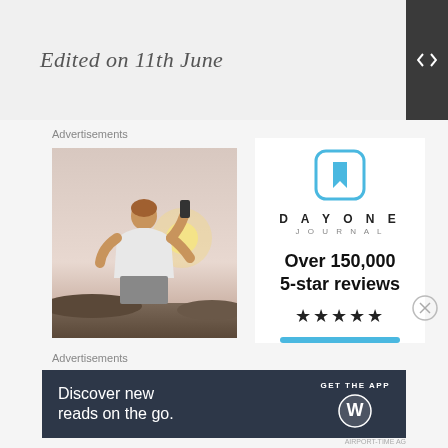Edited on 11th June
Advertisements
[Figure (photo): Person taking a photo at sunset, seen from behind, wearing a white t-shirt]
[Figure (infographic): Day One Journal advertisement: icon with bookmark, DAYONE JOURNAL text, 'Over 150,000 5-star reviews', five stars, blue button]
Advertisements
[Figure (infographic): Bottom banner ad: dark background, 'Discover new reads on the go.' with 'GET THE APP' and WordPress logo]